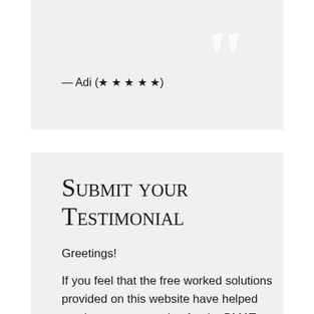— Adi (★ ★ ★ ★ ★)
Submit your Testimonial
Greetings!
If you feel that the free worked solutions provided on this website have helped you in your preparation for the BMAT, we would really appreciate it if you can spare just two minutes of your time to share your review